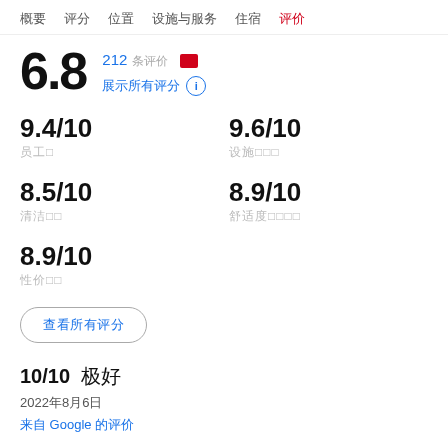概要  评分  位置  设施与服务  住宿  评价
6.8  212 条评价  [red block]  展示所有评分 ℹ
9.4/10 员工
9.6/10 设施及设备
8.5/10 清洁度
8.9/10 舒适度和客房
8.9/10 性价比
查看所有评分
10/10 极好
2022年8月6日
来自 Google 的评价